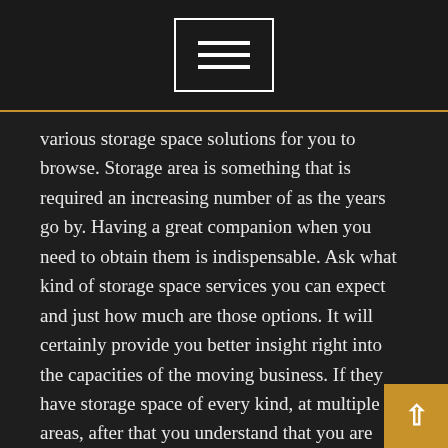[menu button icon]
various storage space solutions for you to browse. Storage area is something that is required an increasing number of as the years go by. Having a great companion when you need to obtain them is indispensable. Ask what kind of storage space services you can expect and just how much are those options. It will certainly provide you better insight right into the capacities of the moving business. If they have storage space of every kind, at multiple areas, after that you understand that you are speaking with excellent moving companies.
Generally, the even more info you can acquire, the far better. Just create everything down as well as compare notes at the end. That is the best means to select the very best moving company